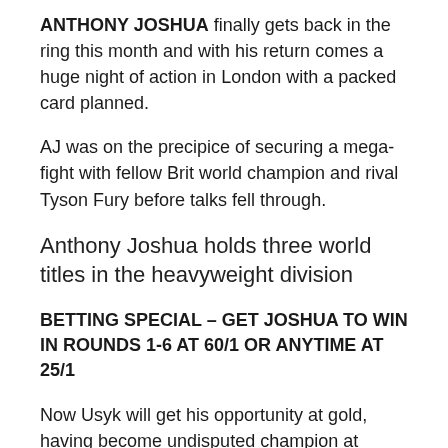ANTHONY JOSHUA finally gets back in the ring this month and with his return comes a huge night of action in London with a packed card planned.
AJ was on the precipice of securing a mega-fight with fellow Brit world champion and rival Tyson Fury before talks fell through.
Anthony Joshua holds three world titles in the heavyweight division
BETTING SPECIAL – GET JOSHUA TO WIN IN ROUNDS 1-6 AT 60/1 OR ANYTIME AT 25/1
Now Usyk will get his opportunity at gold, having become undisputed champion at cruiserweight previously.
The main event isn't all that's on, however, as Matchroom and team AJ have put on a corker of an undercard for